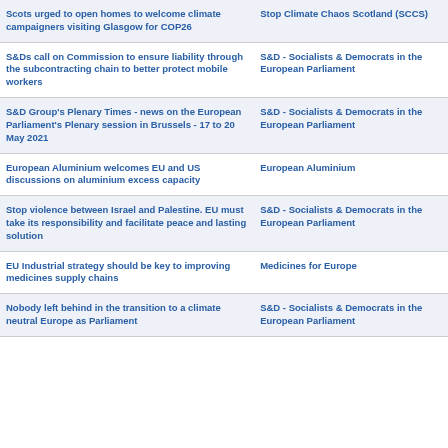| Article Title | Source |
| --- | --- |
| Scots urged to open homes to welcome climate campaigners visiting Glasgow for COP26 | Stop Climate Chaos Scotland (SCCS) |
| S&Ds call on Commission to ensure liability through the subcontracting chain to better protect mobile workers | S&D - Socialists & Democrats in the European Parliament |
| S&D Group's Plenary Times - news on the European Parliament's Plenary session in Brussels - 17 to 20 May 2021 | S&D - Socialists & Democrats in the European Parliament |
| European Aluminium welcomes EU and US discussions on aluminium excess capacity | European Aluminium |
| Stop violence between Israel and Palestine. EU must take its responsibility and facilitate peace and lasting solution | S&D - Socialists & Democrats in the European Parliament |
| EU Industrial strategy should be key to improving medicines supply chains | Medicines for Europe |
| Nobody left behind in the transition to a climate neutral Europe as Parliament | S&D - Socialists & Democrats in the European Parliament |